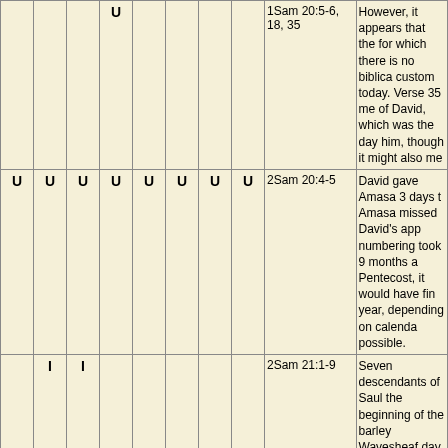|  |  |  |  |  |  |  |  | Reference | Description |
| --- | --- | --- | --- | --- | --- | --- | --- | --- | --- |
|  |  |  | U |  |  |  |  | 1Sam 20:5-6, 18, 35 | However, it appears that the for which there is no biblica custom today. Verse 35 me of David, which was the day him, though it might also me |
| U | U | U | U | U | U | U | U | 2Sam 20:4-5 | David gave Amasa 3 days t Amasa missed David's app numbering took 9 months a Pentecost, it would have fin year, depending on calenda possible. |
|  | I | I |  |  |  |  |  | 2Sam 21:1-9 | Seven descendants of Saul the beginning of the barley Wavesheaf day. |
| U | U | U | U | U | U | U | U | 2Sam 24:13-15 | David was given a choice o numbered Israel. He chose which ended at the "time ap be a Feast day |
|  |  |  | D |  | D |  |  | 1Kngs 8:2 | Solomon's great dedication "Therefore all the men of Is at the feast in the month [H which is the seventh month literally reads "seventh new of Trumpets". The only othe |